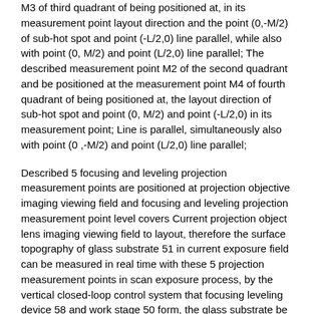M3 of third quadrant of being positioned at, in its measurement point layout direction and the point (0,-M/2) of sub-hot spot and point (-L/2,0) line parallel, while also with point (0, M/2) and point (L/2,0) line parallel; The described measurement point M2 of the second quadrant and be positioned at the measurement point M4 of fourth quadrant of being positioned at, the layout direction of sub-hot spot and point (0, M/2) and point (-L/2,0) in its measurement point; Line is parallel, simultaneously also with point (0,-M/2) and point (L/2,0) line parallel;
Described 5 focusing and leveling projection measurement points are positioned at projection objective imaging viewing field and focusing and leveling projection measurement point level covers Current projection object lens imaging viewing field to layout, therefore the surface topography of glass substrate 51 in current exposure field can be measured in real time with these 5 projection measurement points in scan exposure process, by the vertical closed-loop control system that focusing leveling device 58 and work stage 50 form, the glass substrate be currently located in projection objective imaging viewing field is in all the time in the optimal imaging focal depth